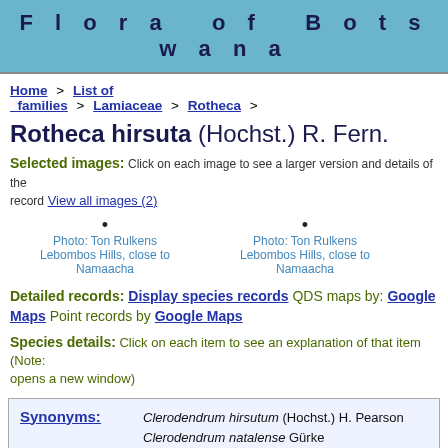Flora of Botswana
Home > List of families > Lamiaceae > Rotheca >
Rotheca hirsuta (Hochst.) R. Fern.
Selected images: Click on each image to see a larger version and details of the record View all images (2)
[Figure (photo): Photo: Ton Rulkens, Lebombos Hills, close to Namaacha]
[Figure (photo): Photo: Ton Rulkens, Lebombos Hills, close to Namaacha]
Detailed records: Display species records QDS maps by: Google Maps Point records by Google Maps
Species details: Click on each item to see an explanation of that item (Note: opens a new window)
| Synonyms: |  |
| --- | --- |
|  | Clerodendrum hirsutum (Hochst.) H. Pearson |
|  | Clerodendrum natalense Gürke |
|  | Clerodendrum pearsonii Moldenke |
|  | Clerodendrum triphyllum (Harv.) H... |